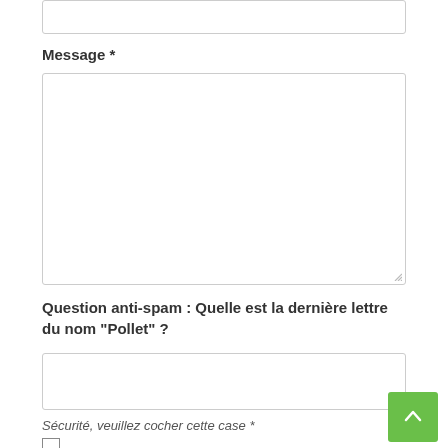Message *
Question anti-spam : Quelle est la dernière lettre du nom "Pollet" ?
Sécurité, veuillez cocher cette case *